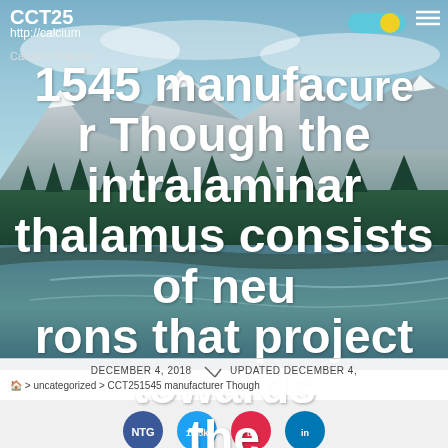CCT251545 manufacture channel.com
http://calciumchannelCalcium Channel
CCT251545 manufacturer Though the intralaminar thalamus consists of neurons that project towards the superficialEven though
DECEMBER 4, 2018  UPDATED DECEMBER 4,
🏠 > uncategorized > CCT251545 manufacturer Though
[Figure (photo): Scenic mountain landscape with river/lake, coniferous forest, and snow-capped peaks under a cloudy sky — used as article background image]